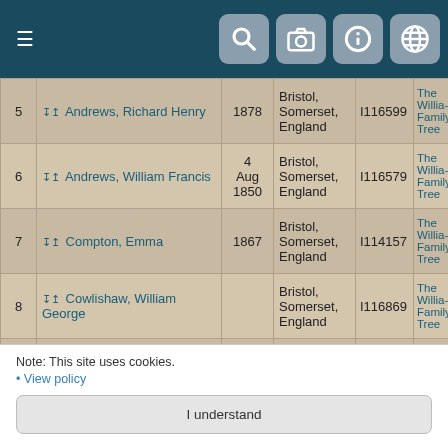| # | Name | Date | Place | ID | Tree |
| --- | --- | --- | --- | --- | --- |
| 5 | Andrews, Richard Henry | 1878 | Bristol, Somerset, England | I116599 | The Williams Family Tree |
| 6 | Andrews, William Francis | 4 Aug 1850 | Bristol, Somerset, England | I116579 | The Williams Family Tree |
| 7 | Compton, Emma | 1867 | Bristol, Somerset, England | I114157 | The Williams Family Tree |
| 8 | Cowlishaw, William George |  | Bristol, Somerset, England | I116869 | The Williams Family Tree |
| 9 | Crossman, John Guy | 4 Nov | Bristol, Somerset, | I116898 | The Williams... |
Note: This site uses cookies.
• View policy
I understand